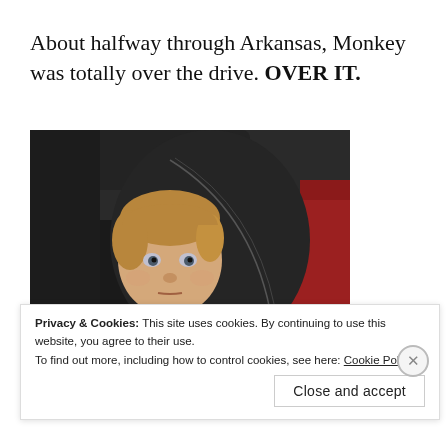About halfway through Arkansas, Monkey was totally over the drive. OVER IT.
[Figure (photo): A young child with light brown hair sitting in a dark car seat, looking tired or bored. Part of a red seat or jacket is visible on the right side of the image.]
Privacy & Cookies: This site uses cookies. By continuing to use this website, you agree to their use.
To find out more, including how to control cookies, see here: Cookie Policy
Close and accept